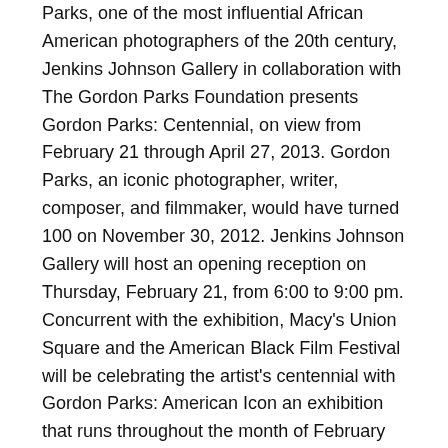Parks, one of the most influential African American photographers of the 20th century, Jenkins Johnson Gallery in collaboration with The Gordon Parks Foundation presents Gordon Parks: Centennial, on view from February 21 through April 27, 2013. Gordon Parks, an iconic photographer, writer, composer, and filmmaker, would have turned 100 on November 30, 2012. Jenkins Johnson Gallery will host an opening reception on Thursday, February 21, from 6:00 to 9:00 pm. Concurrent with the exhibition, Macy's Union Square and the American Black Film Festival will be celebrating the artist's centennial with Gordon Parks: American Icon an exhibition that runs throughout the month of February including a reception at Macy's Thursday, February 21st from 6:00 – 8:00 pm.
The exhibition will survey works spanning six decades of the artist's career starting in 1940. The exhibition consists of more than ninety gelatin silver and pigment prints, including selections from Life magazine photo essays: Invisible Man, 1952; Segregation Story, 1956; The Black Panthers, 1970; and Flavio,